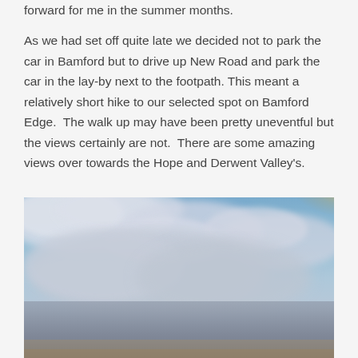forward for me in the summer months.
As we had set off quite late we decided not to park the car in Bamford but to drive up New Road and park the car in the lay-by next to the footpath. This meant a relatively short hike to our selected spot on Bamford Edge.  The walk up may have been pretty uneventful but the views certainly are not.  There are some amazing views over towards the Hope and Derwent Valley's.
[Figure (photo): A landscape photograph showing a dramatic sky over Bamford Edge. The upper portion shows blue sky with large white and grey clouds. The top right corner has a warm golden/yellow glow. The lower portion transitions to grey overcast sky meeting a flat grey horizon.]